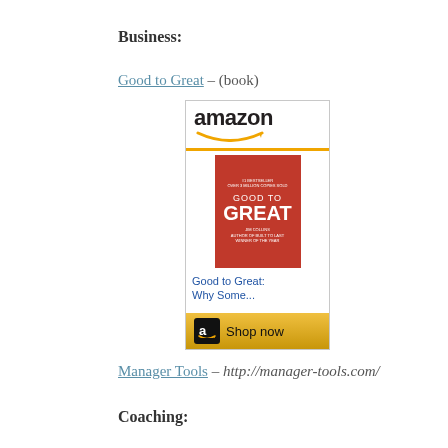Business:
Good to Great – (book)
[Figure (other): Amazon advertisement for the book 'Good to Great: Why Some...' showing the Amazon logo, book cover with red background and white text, and a 'Shop now' button.]
Manager Tools – http://manager-tools.com/
Coaching: